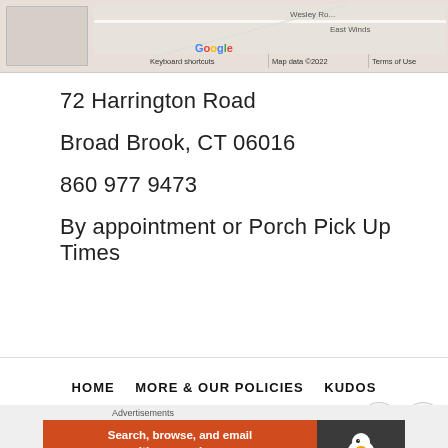[Figure (screenshot): Google Maps screenshot showing a partial map view with keyboard shortcuts, Map data ©2022, and Terms of Use labels. Street labels 'Wesley Ro...' and 'East Winds' partially visible.]
72 Harrington Road
Broad Brook, CT 06016
860 977 9473
By appointment or Porch Pick Up Times
HOME   MORE & OUR POLICIES   KUDOS
[Figure (screenshot): DuckDuckGo advertisement banner: 'Search, browse, and email with more privacy. All in One Free App' on orange background with DuckDuckGo logo on dark background.]